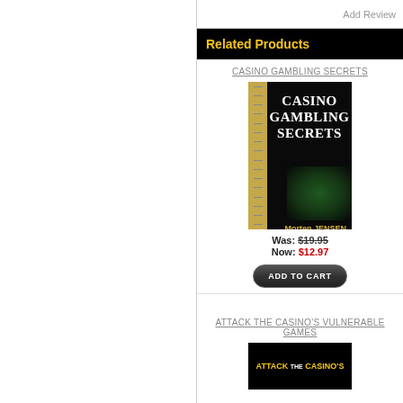Add Review
Related Products
CASINO GAMBLING SECRETS
[Figure (photo): Book cover of Casino Gambling Secrets by Jensen, dark background with gold ruler spine, white bold title text]
Was: $19.95
Now: $12.97
ADD TO CART
ATTACK THE CASINO'S VULNERABLE GAMES
[Figure (photo): Partial view of book cover Attack the Casino's Vulnerable Games, black background with yellow text]